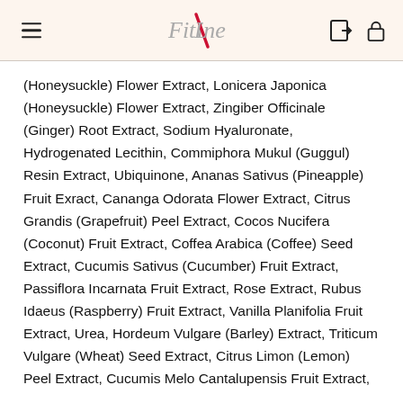FitLine
(Honeysuckle) Flower Extract, Lonicera Japonica (Honeysuckle) Flower Extract, Zingiber Officinale (Ginger) Root Extract, Sodium Hyaluronate, Hydrogenated Lecithin, Commiphora Mukul (Guggul) Resin Extract, Ubiquinone, Ananas Sativus (Pineapple) Fruit Exract, Cananga Odorata Flower Extract, Citrus Grandis (Grapefruit) Peel Extract, Cocos Nucifera (Coconut) Fruit Extract, Coffea Arabica (Coffee) Seed Extract, Cucumis Sativus (Cucumber) Fruit Extract, Passiflora Incarnata Fruit Extract, Rose Extract, Rubus Idaeus (Raspberry) Fruit Extract, Vanilla Planifolia Fruit Extract, Urea, Hordeum Vulgare (Barley) Extract, Triticum Vulgare (Wheat) Seed Extract, Citrus Limon (Lemon) Peel Extract, Cucumis Melo Cantalupensis Fruit Extract, Prunus Armeniaca Fruit (Apricot) Extract, Pyrus…